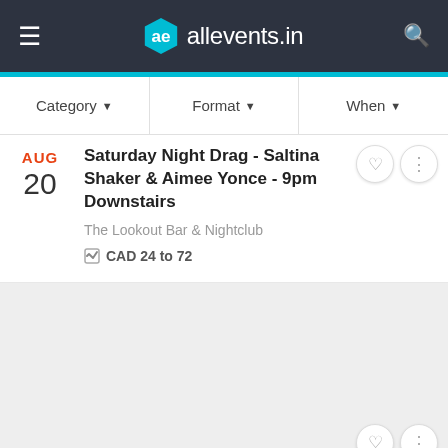allevents.in
Category  Format  When
Saturday Night Drag - Saltina Shaker & Aimee Yonce - 9pm Downstairs
The Lookout Bar & Nightclub
CAD 24 to 72
AUG 20
[Figure (screenshot): Gray placeholder block for a second event listing card]